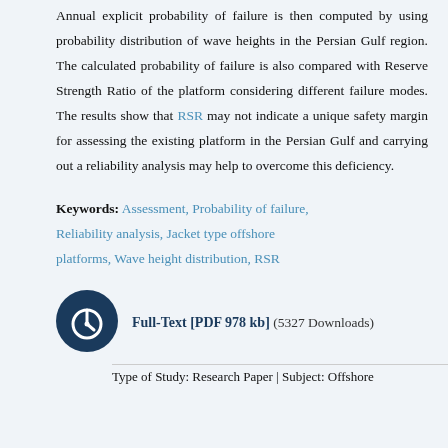Annual explicit probability of failure is then computed by using probability distribution of wave heights in the Persian Gulf region. The calculated probability of failure is also compared with Reserve Strength Ratio of the platform considering different failure modes. The results show that RSR may not indicate a unique safety margin for assessing the existing platform in the Persian Gulf and carrying out a reliability analysis may help to overcome this deficiency.
Keywords: Assessment, Probability of failure, Reliability analysis, Jacket type offshore platforms, Wave height distribution, RSR
Full-Text [PDF 978 kb]  (5327 Downloads)
Type of Study: Research Paper | Subject: Offshore